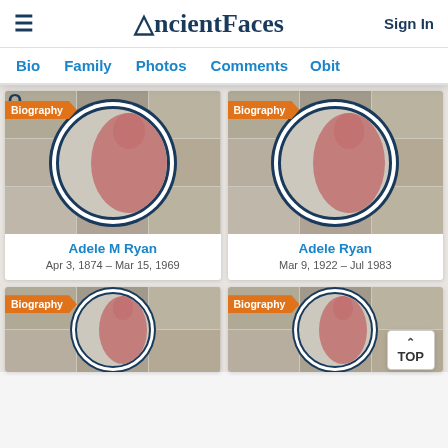AncientFaces — Sign In
Bio | Family | Photos | Comments | Obit
[Figure (photo): Profile card for Adele M Ryan with biography badge and silhouette placeholder image]
Adele M Ryan
Apr 3, 1874 – Mar 15, 1969
[Figure (photo): Profile card for Adele Ryan with biography badge and silhouette placeholder image]
Adele Ryan
Mar 9, 1922 – Jul 1983
[Figure (photo): Profile card (bottom left) with biography badge and silhouette placeholder image]
[Figure (photo): Profile card (bottom right) with biography badge and silhouette placeholder image]